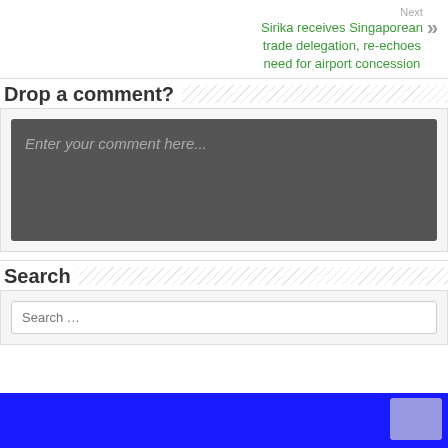Next
Sirika receives Singaporean trade delegation, re-echoes need for airport concession
Drop a comment?
Enter your comment here...
Search
Search …
[Figure (other): Blue footer bar with a light purple/grey button on the right side]